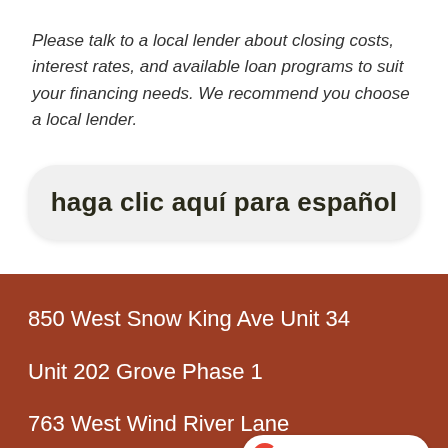Please talk to a local lender about closing costs, interest rates, and available loan programs to suit your financing needs. We recommend you choose a local lender.
haga clic aquí para español
850 West Snow King Ave Unit 34
Unit 202 Grove Phase 1
763 West Wind River Lane